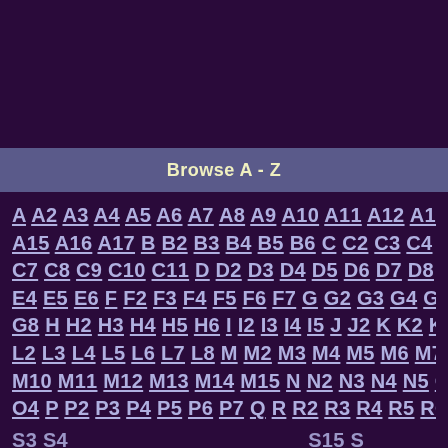[Figure (screenshot): Dark purple top banner area (advertisement placeholder)]
Browse A - Z
A A2 A3 A4 A5 A6 A7 A8 A9 A10 A11 A12 A13 A14 A15 A16 A17 B B2 B3 B4 B5 B6 C C2 C3 C4 C5 C6 C7 C8 C9 C10 C11 D D2 D3 D4 D5 D6 D7 D8 E E2 E4 E5 E6 F F2 F3 F4 F5 F6 F7 G G2 G3 G4 G5 G6 G8 H H2 H3 H4 H5 H6 I I2 I3 I4 I5 J J2 K K2 K3 K4 L L2 L3 L4 L5 L6 L7 L8 M M2 M3 M4 M5 M6 M7 M8 M M10 M11 M12 M13 M14 M15 N N2 N3 N4 N5 O O2 O4 P P2 P3 P4 P5 P6 P7 Q R R2 R3 R4 R5 R6 S S2 S3 S4 S15 S17 T T13 T1
[Figure (screenshot): Advertisement overlay with blue button labeled פתח and Hebrew text: משרד עו'ד שוובר-קלביר / משרד עו'ד מוביל בדיני עבודה]